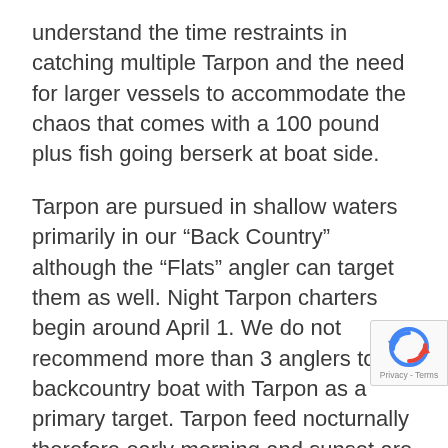understand the time restraints in catching multiple Tarpon and the need for larger vessels to accommodate the chaos that comes with a 100 pound plus fish going berserk at boat side.
Tarpon are pursued in shallow waters primarily in our “Back Country” although the “Flats” angler can target them as well. Night Tarpon charters begin around April 1. We do not recommend more than 3 anglers to a backcountry boat with Tarpon as a primary target. Tarpon feed nocturnally therefore early morning and sunset are the most productive time frames…Let’s go fishing! We do not fly fish from back country bay boats. Fly fishers intere in pursuing Tarpon are welcome on our flats sk designed with the fly caster in mind. Note Flats